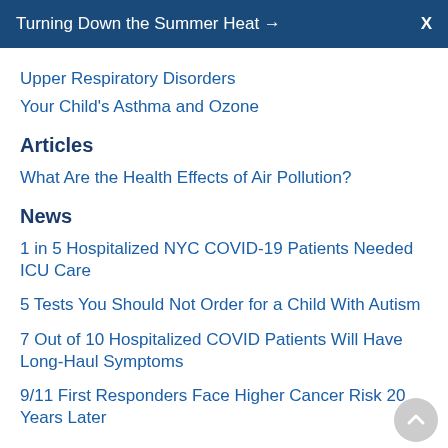Turning Down the Summer Heat → X
Upper Respiratory Disorders
Your Child's Asthma and Ozone
Articles
What Are the Health Effects of Air Pollution?
News
1 in 5 Hospitalized NYC COVID-19 Patients Needed ICU Care
5 Tests You Should Not Order for a Child With Autism
7 Out of 10 Hospitalized COVID Patients Will Have Long-Haul Symptoms
9/11 First Responders Face Higher Cancer Risk 20 Years Later